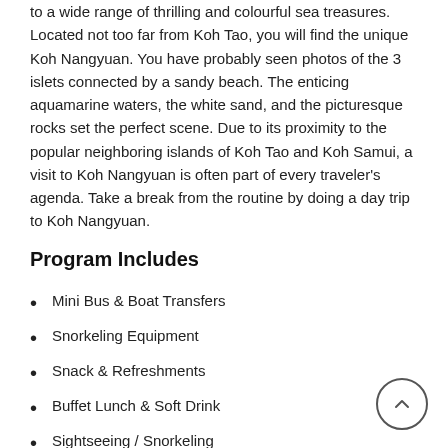to a wide range of thrilling and colourful sea treasures. Located not too far from Koh Tao, you will find the unique Koh Nangyuan. You have probably seen photos of the 3 islets connected by a sandy beach. The enticing aquamarine waters, the white sand, and the picturesque rocks set the perfect scene. Due to its proximity to the popular neighboring islands of Koh Tao and Koh Samui, a visit to Koh Nangyuan is often part of every traveler's agenda. Take a break from the routine by doing a day trip to Koh Nangyuan.
Program Includes
Mini Bus & Boat Transfers
Snorkeling Equipment
Snack & Refreshments
Buffet Lunch & Soft Drink
Sightseeing / Snorkeling
Full Tour Insurance Coverage(Required : passport picture in your mobile )